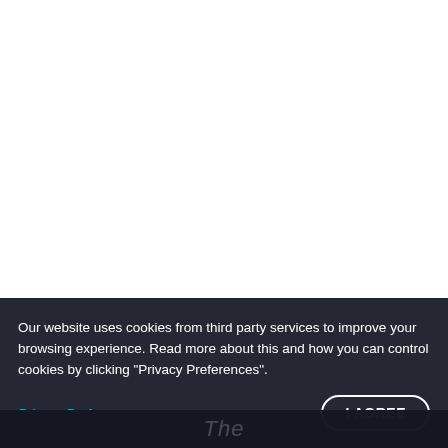[Figure (other): YouTube Subscribe button (red rounded rectangle with play icon and 'Subscribe' text)]
Our website uses cookies from third party services to improve your browsing experience. Read more about this and how you can control cookies by clicking "Privacy Preferences".
Privacy Preferences
I AGREE